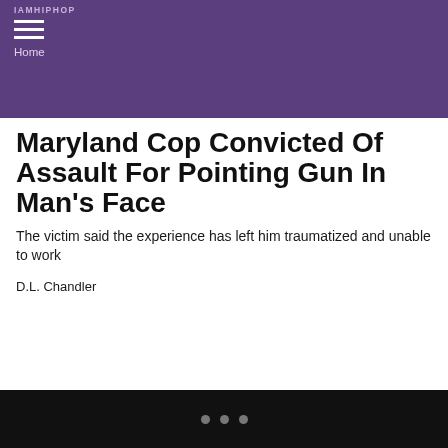Home
Maryland Cop Convicted Of Assault For Pointing Gun In Man's Face
The victim said the experience has left him traumatized and unable to work
D.L. Chandler
...